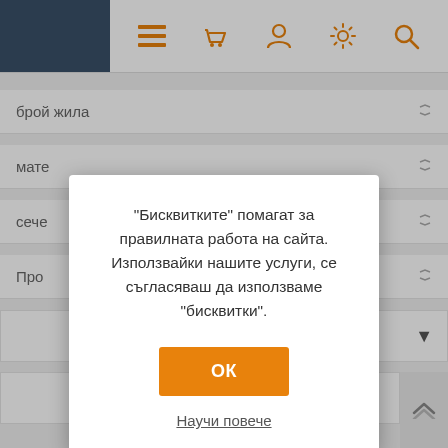[Figure (screenshot): Website navigation bar with orange icons: hamburger menu, basket, person, settings gear, and search magnifier on white background with dark left panel]
брой жила
мате
сече
Про
"Бисквитките" помагат за правилната работа на сайта. Използвайки нашите услуги, се съгласяваш да използваме "бисквитки".
ОК
Научи повече
ПРОИЗВОДИТЕЛИ
ПОПУЛЯРНИ МАРКЕРИ